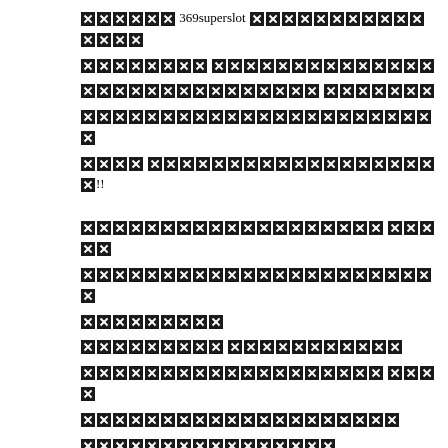XXXXXX 369superslot XXXXXXXXXXXXXXX XXXXXXXX XXXXXXXXXXXXXX XXXXXXXXXXXXXXX XXXXXXX XXXXXXXXXXXXXXXXXXXXXXXXXXXXXXXXX X XXXX XXXXXXXXXXXXXXXXXXXXXXXXX!!
XXXXXXXXXXXXXXXXXXXXXXXXXX XXXXX XXXXXXXXXXXXXXXXXXXXXXXXXXXXXXXX XXXXXXXXXX XXXXXXXXXX XXXXXXXXXXXXXXX XXXXXXXXXXXXXXXXXXXXXXXXXX XXXXX XXXXXXXXXXXXXXXXXXXXXXXX XXXXXXXXXXXXXXXXXXXXXXXXXXXXXXXXX XXX XXXXXXXXXXXXXXXXXXXXXXXXXXXXXX XXXXXXXXXXXXXXXXXXXXXXXX